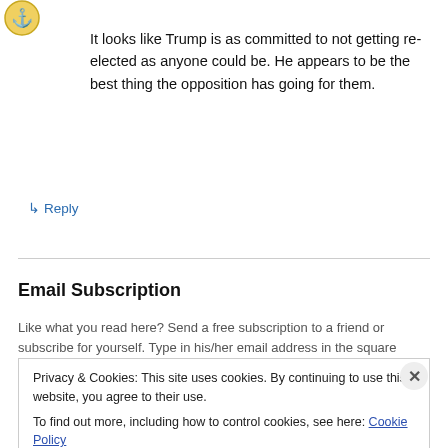[Figure (illustration): Small avatar icon of an eagle or crest, top left corner]
It looks like Trump is as committed to not getting re-elected as anyone could be. He appears to be the best thing the opposition has going for them.
↳ Reply
Email Subscription
Like what you read here? Send a free subscription to a friend or subscribe for yourself. Type in his/her email address in the square below
Privacy & Cookies: This site uses cookies. By continuing to use this website, you agree to their use.
To find out more, including how to control cookies, see here: Cookie Policy
Close and accept